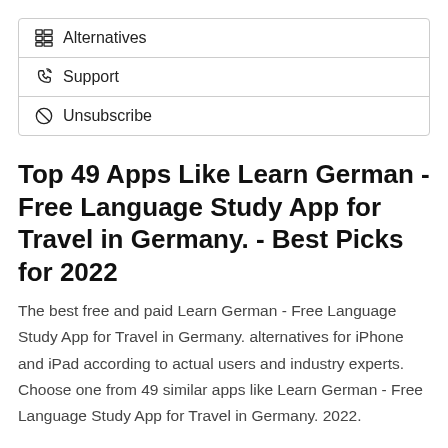Alternatives
Support
Unsubscribe
Top 49 Apps Like Learn German - Free Language Study App for Travel in Germany. - Best Picks for 2022
The best free and paid Learn German - Free Language Study App for Travel in Germany. alternatives for iPhone and iPad according to actual users and industry experts. Choose one from 49 similar apps like Learn German - Free Language Study App for Travel in Germany. 2022.